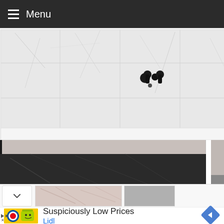Menu
[Figure (photo): Bathroom interior with white/grey marble tile wall, black wall-mounted faucet taps, white countertop, and large light grey floating vanity cabinet below. Dark marble tiles on floor. Mirror visible on right side.]
[Figure (photo): Thumbnail strip showing a pink/rose marble texture swatch and a grey swatch.]
Suspiciously Low Prices
Lidl